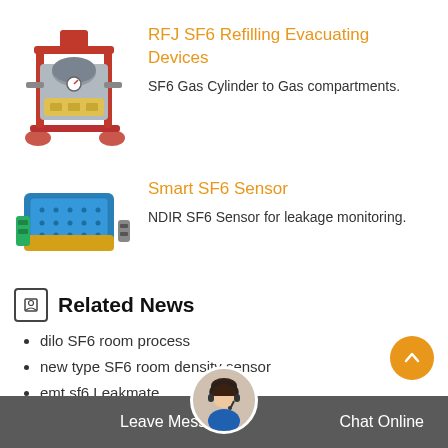RFJ SF6 Refilling Evacuating Devices
SF6 Gas Cylinder to Gas compartments.
[Figure (illustration): Industrial SF6 refilling evacuating device on wheels with red frame and mechanical components]
Smart SF6 Sensor
NDIR SF6 Sensor for leakage monitoring.
[Figure (illustration): Blue and yellow NDIR SF6 sensor module]
Related News
dilo SF6 room process
new type SF6 room density sensor
emt sf6 Leakmate
ge SF6 Air ingressing
Leave Message   Chat Online